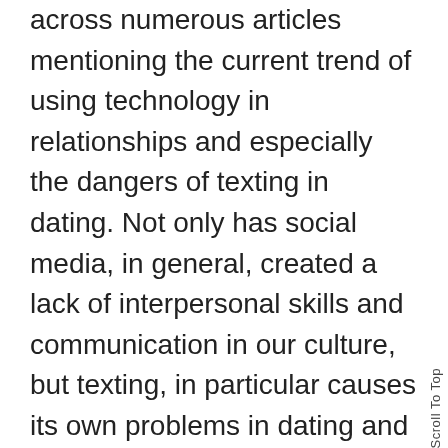across numerous articles mentioning the current trend of using technology in relationships and especially the dangers of texting in dating. Not only has social media, in general, created a lack of interpersonal skills and communication in our culture, but texting, in particular causes its own problems in dating and relationships. Using text messages to communicate presents a problem because: a) you're effectively ignoring your date, b) you're communicating in a way that isn't entirely clear and, c) it doesn't require a whole lot of effort.

While texting can be an issue for all types of relationships, it's especially damaging in romantic relationships, particularly in the early stages. Dating and relationships are all about relating to your
Scroll To Top